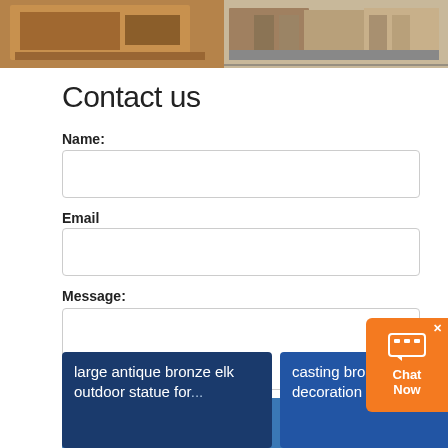[Figure (photo): Two photos side by side showing wooden crates/packaging]
Contact us
Name:
Email
Message:
SEND
large antique bronze elk outdoor statue for...
casting bronze modern decoration moose...